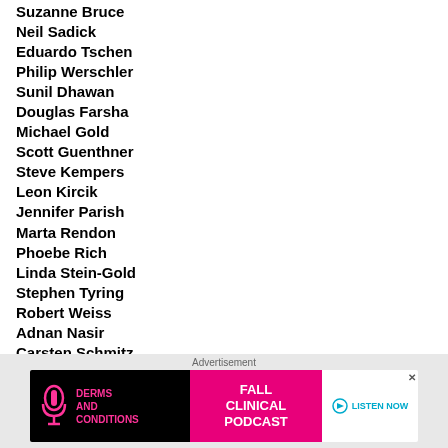Suzanne Bruce
Neil Sadick
Eduardo Tschen
Philip Werschler
Sunil Dhawan
Douglas Farsha
Michael Gold
Scott Guenthner
Steve Kempers
Leon Kircik
Jennifer Parish
Marta Rendon
Phoebe Rich
Linda Stein-Gold
Stephen Tyring
Robert Weiss
Adnan Nasir
Carsten Schmitz
Terry Boodhoo
[Figure (other): Advertisement banner for Derms and Conditions Fall Clinical Podcast with a Listen Now button]